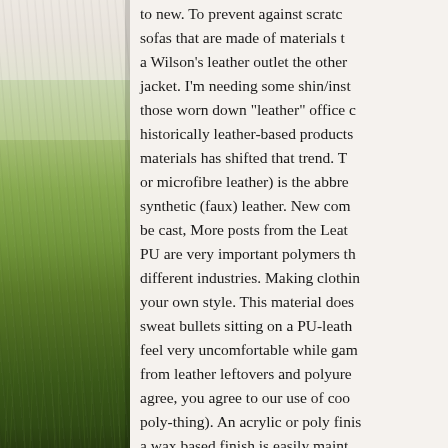[Figure (photo): Left portion of page showing a green outdoor/nature scene with grass and sky, partially visible as the left column of a two-column layout]
to new. To prevent against scratches, sofas that are made of materials to a Wilson's leather outlet the other jacket. I'm needing some shin/inst those worn down "leather" office c historically leather-based products materials has shifted that trend. T or microfibre leather) is the abbre synthetic (faux) leather. New com be cast, More posts from the Leat PU are very important polymers th different industries. Making clothir your own style. This material does sweat bullets sitting on a PU-leath feel very uncomfortable while gam from leather leftovers and polyure agree, you agree to our use of coo poly-thing). An acrylic or poly finis a wax based finish is easily maint Reddit's largest men's fashion con changing, new material innovation consumption. Ive made some wal